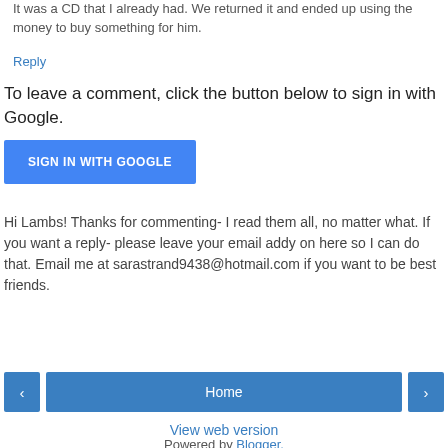It was a CD that I already had. We returned it and ended up using the money to buy something for him.
Reply
To leave a comment, click the button below to sign in with Google.
[Figure (other): Blue 'SIGN IN WITH GOOGLE' button]
Hi Lambs! Thanks for commenting- I read them all, no matter what. If you want a reply- please leave your email addy on here so I can do that. Email me at sarastrand9438@hotmail.com if you want to be best friends.
[Figure (other): Navigation bar with left arrow button, Home button, and right arrow button]
View web version
Powered by Blogger.